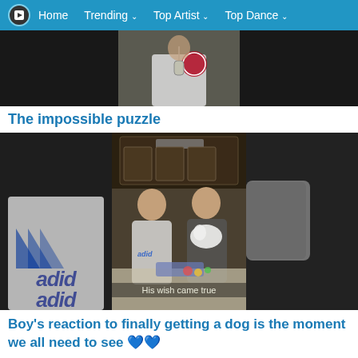Home  Trending  Top Artist  Top Dance
[Figure (screenshot): Video thumbnail strip showing three panels: dark left panel, center panel with person wearing dog tags and white shirt, dark right panel]
The impossible puzzle
[Figure (screenshot): Video thumbnail strip showing three panels: left panel with boy in Adidas shirt, center panel showing boy and man with puppy indoors with caption 'His wish came true', dark right panel]
Boy's reaction to finally getting a dog is the moment we all need to see 💙💙